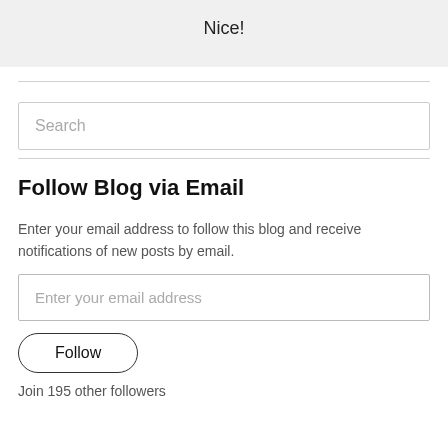Nice!
Search
Follow Blog via Email
Enter your email address to follow this blog and receive notifications of new posts by email.
Enter your email address
Follow
Join 195 other followers